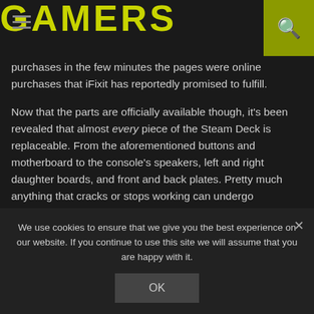GAMERS
purchases in the few minutes the pages were online purchases that iFixit has reportedly promised to fulfill.
Now that the parts are officially available though, it's been revealed that almost every piece of the Steam Deck is replaceable. From the aforementioned buttons and motherboard to the console's speakers, left and right daughter boards, and front and back plates. Pretty much anything that cracks or stops working can undergo replacement via iFixit's partnership with Valve. Steam Deck owners are even able to upgrade their consoles
We use cookies to ensure that we give you the best experience on our website. If you continue to use this site we will assume that you are happy with it.
OK